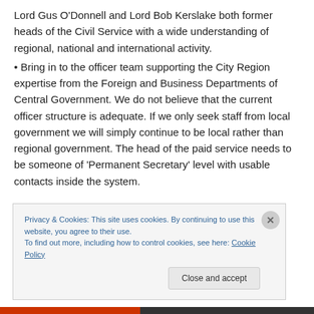Lord Gus O'Donnell and Lord Bob Kerslake both former heads of the Civil Service with a wide understanding of regional, national and international activity.
• Bring in to the officer team supporting the City Region expertise from the Foreign and Business Departments of Central Government. We do not believe that the current officer structure is adequate. If we only seek staff from local government we will simply continue to be local rather than regional government. The head of the paid service needs to be someone of 'Permanent Secretary' level with usable contacts inside the system.
Privacy & Cookies: This site uses cookies. By continuing to use this website, you agree to their use. To find out more, including how to control cookies, see here: Cookie Policy